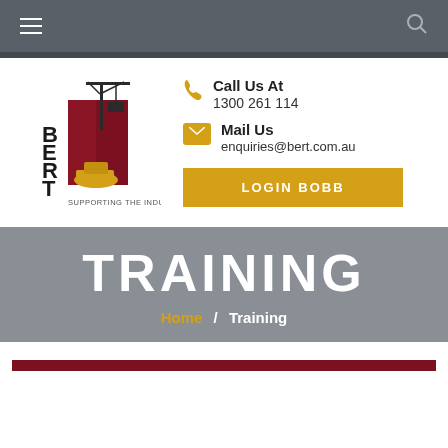Navigation bar with hamburger menu and search icon
[Figure (logo): BERT logo - construction company logo with crane and excavator, text 'BERT' vertically and 'SUPPORTING THE INDUSTRY' below]
Call Us At
1300 261 114
Mail Us
enquiries@bert.com.au
LOGIN BOBB
TRAINING
Home / Training